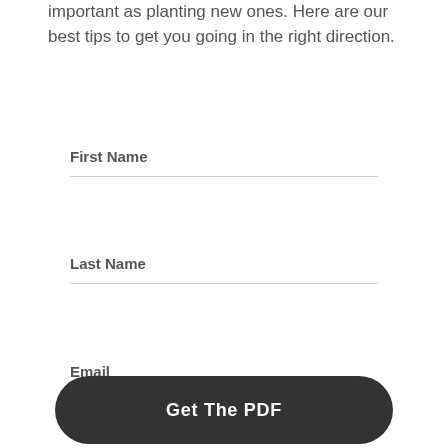important as planting new ones. Here are our best tips to get you going in the right direction.
First Name
Last Name
Email
Get The PDF